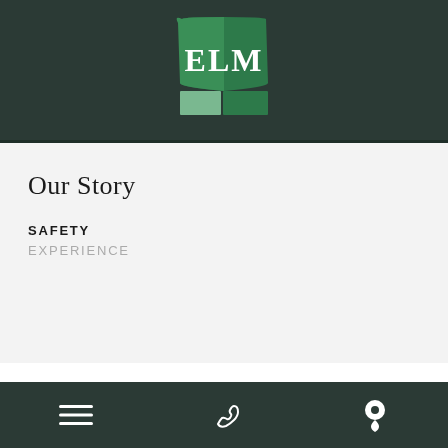[Figure (logo): ELM company logo: green shield/flag shape with white serif text ELM, split bottom section with lighter green left panel and darker green right panel, on dark background]
Our Story
SAFETY
EXPERIENCE
[Figure (other): Footer navigation bar with three icons: hamburger menu (three lines), phone/handset icon, and location pin icon, all in white on dark background]